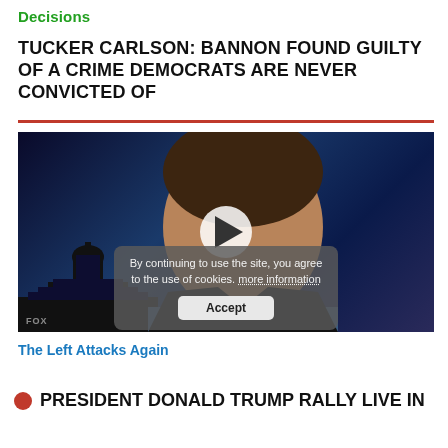Decisions
TUCKER CARLSON: BANNON FOUND GUILTY OF A CRIME DEMOCRATS ARE NEVER CONVICTED OF
[Figure (screenshot): Video thumbnail showing a man (Tucker Carlson) in a dark suit against a blue background with a Capitol building silhouette. A white play button is visible in the center. A cookie consent overlay reads: 'By continuing to use the site, you agree to the use of cookies. more information' with an Accept button.]
The Left Attacks Again
PRESIDENT DONALD TRUMP RALLY LIVE IN